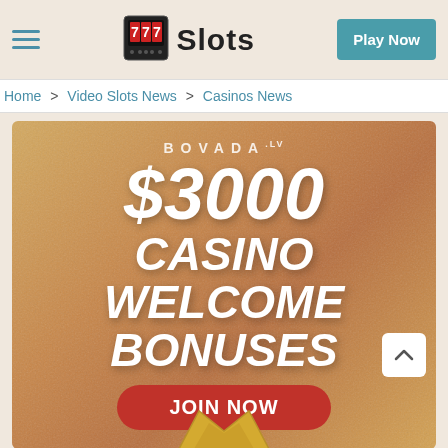Slots — Play Now
Home > Video Slots News > Casinos News
[Figure (photo): Bovada.lv casino advertisement banner showing '$3000 CASINO WELCOME BONUSES' with a red JOIN NOW button on a golden textured background]